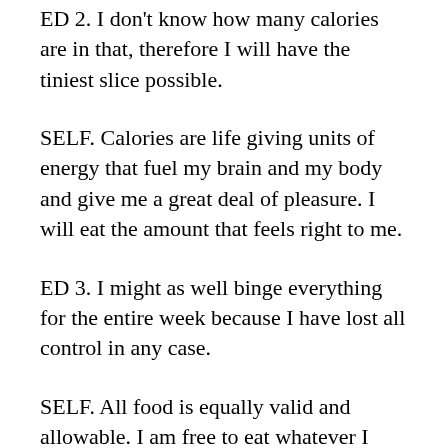ED 2. I don't know how many calories are in that, therefore I will have the tiniest slice possible.
SELF. Calories are life giving units of energy that fuel my brain and my body and give me a great deal of pleasure. I will eat the amount that feels right to me.
ED 3. I might as well binge everything for the entire week because I have lost all control in any case.
SELF. All food is equally valid and allowable. I am free to eat whatever I choose, whenever I like. I do not need to say ‘fuck it all’ because I am a free agent who can eat it anyway!